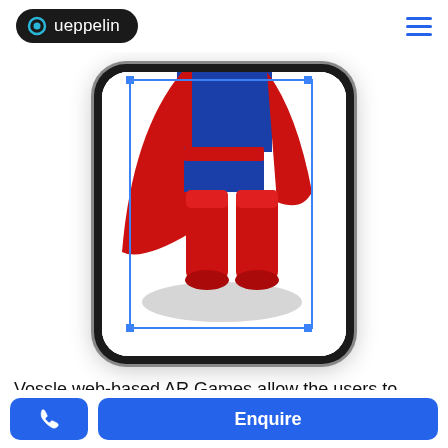Queppelin
[Figure (screenshot): Phone mockup showing AR scene with Superman figure legs and red boots with blue selection bounding box overlay]
Vossle web-based AR Games allow the users to create interactive and fun gaming experience for the users without the need to
[Figure (other): Bottom action bar with phone icon button and Enquire button]